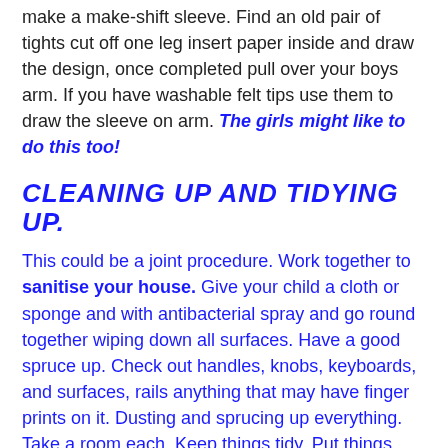make a make-shift sleeve. Find an old pair of tights cut off one leg insert paper inside and draw the design, once completed pull over your boys arm. If you have washable felt tips use them to draw the sleeve on arm. The girls might like to do this too!
CLEANING UP AND TIDYING UP.
This could be a joint procedure. Work together to sanitise your house. Give your child a cloth or sponge and with antibacterial spray and go round together wiping down all surfaces. Have a good spruce up. Check out handles, knobs, keyboards, and surfaces, rails anything that may have finger prints on it. Dusting and sprucing up everything. Take a room each. Keep things tidy. Put things back in its place. Shoes together. Make up the beds together. Vacuum all the carpets. Set a challenge with the older kids. The younger ones like to copy cleaning, give them a mop or